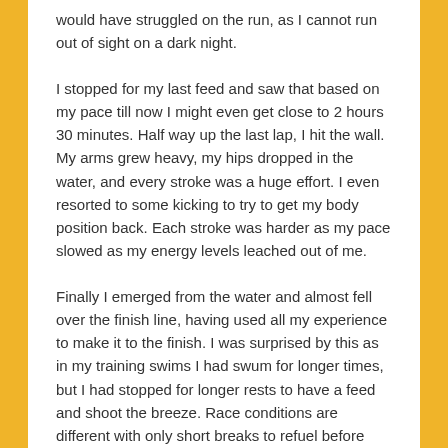would have struggled on the run, as I cannot run out of sight on a dark night.
I stopped for my last feed and saw that based on my pace till now I might even get close to 2 hours 30 minutes. Half way up the last lap, I hit the wall. My arms grew heavy, my hips dropped in the water, and every stroke was a huge effort. I even resorted to some kicking to try to get my body position back. Each stroke was harder as my pace slowed as my energy levels leached out of me.
Finally I emerged from the water and almost fell over the finish line, having used all my experience to make it to the finish. I was surprised by this as in my training swims I had swum for longer times, but I had stopped for longer rests to have a feed and shoot the breeze. Race conditions are different with only short breaks to refuel before ploughing on once more.